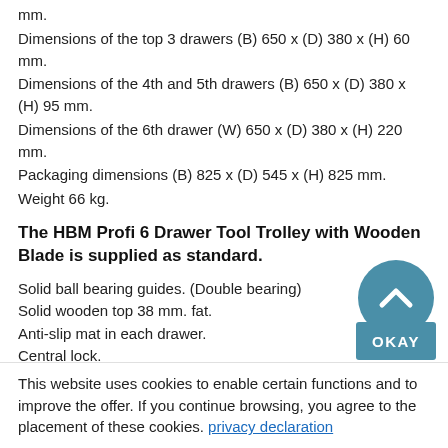mm.
Dimensions of the top 3 drawers (B) 650 x (D) 380 x (H) 60 mm.
Dimensions of the 4th and 5th drawers (B) 650 x (D) 380 x (H) 95 mm.
Dimensions of the 6th drawer (W) 650 x (D) 380 x (H) 220 mm.
Packaging dimensions (B) 825 x (D) 545 x (H) 825 mm.
Weight 66 kg.
The HBM Profi 6 Drawer Tool Trolley with Wooden Blade is supplied as standard.
Solid ball bearing guides. (Double bearing)
Solid wooden top 38 mm. fat.
Anti-slip mat in each drawer.
Central lock.
This website uses cookies to enable certain functions and to improve the offer. If you continue browsing, you agree to the placement of these cookies. privacy declaration